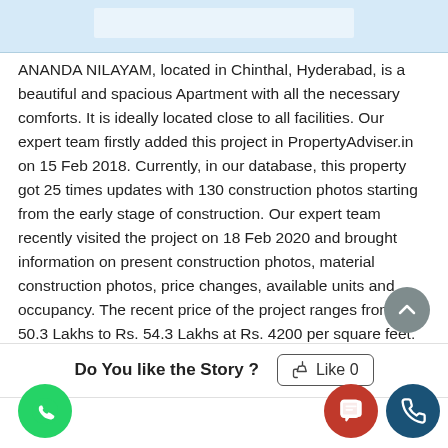[Figure (other): Top blue banner with a lighter blue rectangle in the center]
ANANDA NILAYAM, located in Chinthal, Hyderabad, is a beautiful and spacious Apartment with all the necessary comforts. It is ideally located close to all facilities. Our expert team firstly added this project in PropertyAdviser.in on 15 Feb 2018. Currently, in our database, this property got 25 times updates with 130 construction photos starting from the early stage of construction. Our expert team recently visited the project on 18 Feb 2020 and brought information on present construction photos, material construction photos, price changes, available units and occupancy. The recent price of the project ranges from Rs. 50.3 Lakhs to Rs. 54.3 Lakhs at Rs. 4200 per square feet. Presently, the project has 1 available units for sale. Our professional team will re-visit the project by 20 Mar 2020 to get up to date information. The project is ready to move.
Do You like the Story ?
Like 0